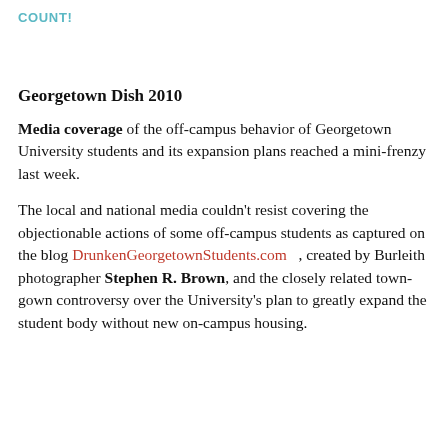COUNT!
Georgetown Dish 2010
Media coverage of the off-campus behavior of Georgetown University students and its expansion plans reached a mini-frenzy last week.
The local and national media couldn't resist covering the objectionable actions of some off-campus students as captured on the blog DrunkenGeorgetownStudents.com , created by Burleith photographer Stephen R. Brown, and the closely related town-gown controversy over the University's plan to greatly expand the student body without new on-campus housing.